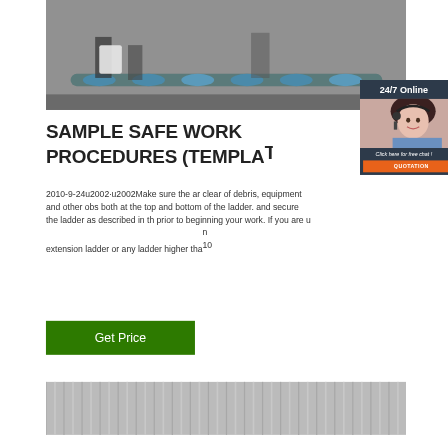[Figure (photo): Industrial scene with people handling cylindrical blue pipes/tubes on a conveyor or surface in a warehouse or factory setting]
SAMPLE SAFE WORK PROCEDURES (TEMPLAT
2010-9-24u2002·u2002Make sure the ar clear of debris, equipment and other obs both at the top and bottom of the ladder. and secure the ladder as described in th prior to beginning your work. If you are u extension ladder or any ladder higher than 10
[Figure (screenshot): 24/7 Online chat overlay with a customer service representative wearing a headset, with 'Click here for free chat!' text and an orange QUOTATION button]
Get Price
[Figure (photo): Bottom portion of image showing corrugated metal or industrial paneling]